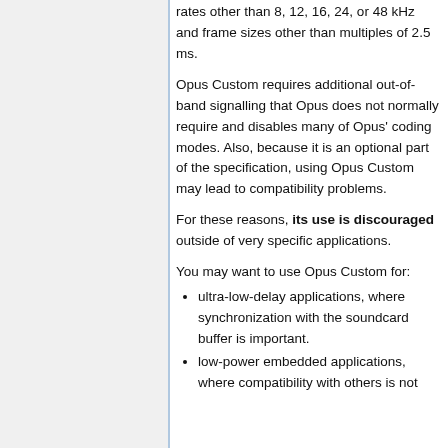rates other than 8, 12, 16, 24, or 48 kHz and frame sizes other than multiples of 2.5 ms.
Opus Custom requires additional out-of-band signalling that Opus does not normally require and disables many of Opus' coding modes. Also, because it is an optional part of the specification, using Opus Custom may lead to compatibility problems.
For these reasons, its use is discouraged outside of very specific applications.
You may want to use Opus Custom for:
ultra-low-delay applications, where synchronization with the soundcard buffer is important.
low-power embedded applications, where compatibility with others is not